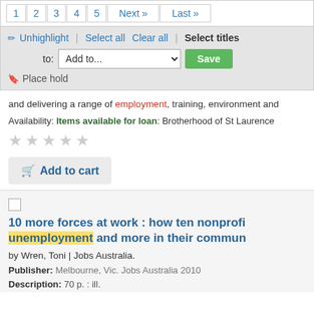1 2 3 4 5 Next » Last »
Unhighlight | Select all  Clear all | Select titles to: Add to... Save
Place hold
and delivering a range of employment, training, environment and
Availability: Items available for loan: Brotherhood of St Laurence
★★★★★
Add to cart
10 more forces at work : how ten nonprofi unemployment and more in their commun
by Wren, Toni | Jobs Australia.
Publisher: Melbourne, Vic. Jobs Australia 2010
Description: 70 p. : ill.